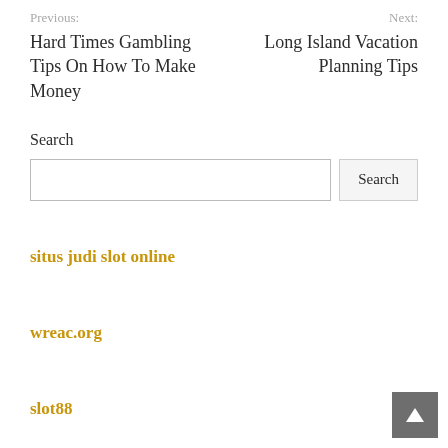Previous: Hard Times Gambling Tips On How To Make Money
Next: Long Island Vacation Planning Tips
Search
situs judi slot online
wreac.org
slot88